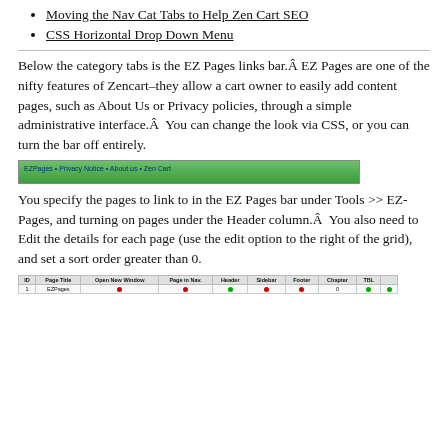Moving the Nav Cat Tabs to Help Zen Cart SEO
CSS Horizontal Drop Down Menu
Below the category tabs is the EZ Pages links bar.Â EZ Pages are one of the nifty features of Zencart–they allow a cart owner to easily add content pages, such as About Us or Privacy policies, through a simple administrative interface.Â  You can change the look via CSS, or you can turn the bar off entirely.
[Figure (screenshot): A green EZ Pages links bar showing links: EZPages, Privacy Notice, About us, Zen Cart]
You specify the pages to link to in the EZ Pages bar under Tools >> EZ-Pages, and turning on pages under the Header column.Â  You also need to Edit the details for each page (use the edit option to the right of the grid), and set a sort order greater than 0.
[Figure (screenshot): A table screenshot showing EZ Pages admin grid with columns: ID, Page Title, Open New Window, Page in Nav, Header, Sidebar, Footer, Chapter, TBL, and a row for EZPages with red and green dot indicators.]